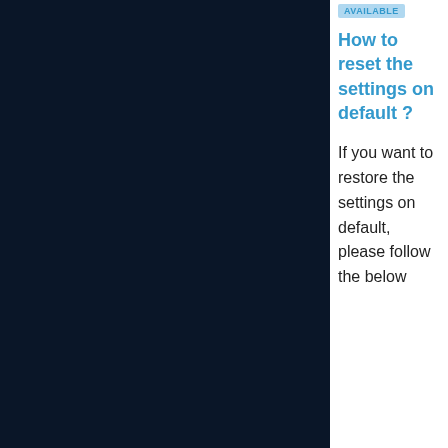[Figure (photo): Dark navy blue background panel occupying the left portion of the page]
AVAILABLE
How to reset the settings on default ?
If you want to restore the settings on default, please follow the below